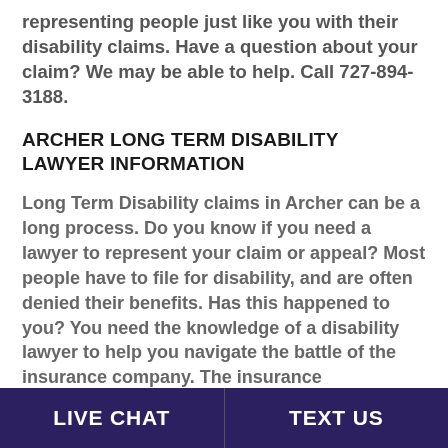representing people just like you with their disability claims. Have a question about your claim? We may be able to help. Call 727-894-3188.
ARCHER LONG TERM DISABILITY LAWYER INFORMATION
Long Term Disability claims in Archer can be a long process. Do you know if you need a lawyer to represent your claim or appeal? Most people have to file for disability, and are often denied their benefits. Has this happened to you? You need the knowledge of a disability lawyer to help you navigate the battle of the insurance company. The insurance
LIVE CHAT   TEXT US